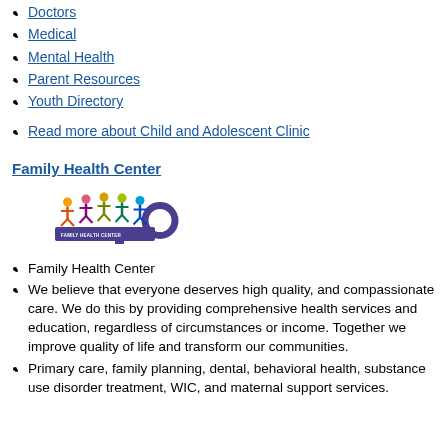Doctors
Medical
Mental Health
Parent Resources
Youth Directory
Read more about Child and Adolescent Clinic
Family Health Center
[Figure (logo): Family Health Center logo with colorful cartoon children figures standing on a key shape with text 'FAMILY HEALTH CENTER']
Family Health Center
We believe that everyone deserves high quality, and compassionate care. We do this by providing comprehensive health services and education, regardless of circumstances or income. Together we improve quality of life and transform our communities.
Primary care, family planning, dental, behavioral health, substance use disorder treatment, WIC, and maternal support services.